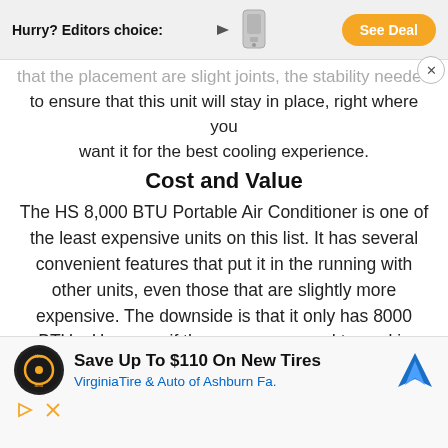Hurry? Editors choice: [arrow] [product image] See Deal
that the placement are slightjoints, the stability needed to ensure that this unit will stay in place, right where you want it for the best cooling experience.
Cost and Value
The HS 8,000 BTU Portable Air Conditioner is one of the least expensive units on this list. It has several convenient features that put it in the running with other units, even those that are slightly more expensive. The downside is that it only has 8000 BTUs. However, if the space you need to cool is relatively small, then that one downside shouldn't detract from all the other features
[Figure (infographic): Advertisement banner: Save Up To $110 On New Tires - Virginia Tire & Auto of Ashburn Fa. with tire brand logo and map direction icon]